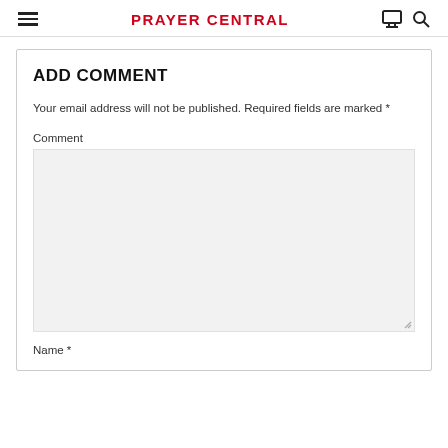PRAYER CENTRAL
ADD COMMENT
Your email address will not be published. Required fields are marked *
Comment
Name *